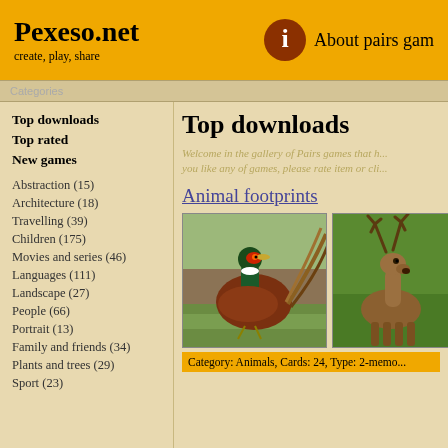Pexeso.net
create, play, share
About pairs gam...
Categories
Top downloads
Top rated
New games
Abstraction (15)
Architecture (18)
Travelling (39)
Children (175)
Movies and series (46)
Languages (111)
Landscape (27)
People (66)
Portrait (13)
Family and friends (34)
Plants and trees (29)
Sport (23)
Top downloads
Welcome in the gallery of Pairs games that h... you like any of games, please rate item or cli...
Animal footprints
[Figure (photo): Pheasant bird standing in grass]
[Figure (photo): Deer with antlers in green field]
Category: Animals, Cards: 24, Type: 2-memo...